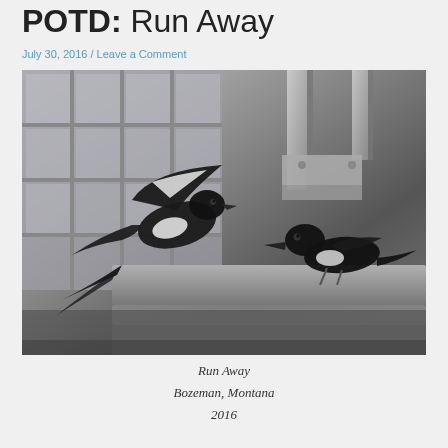POTD: Run Away
July 30, 2016 / Leave a Comment
[Figure (photo): Black and white photograph of two magpie birds on a stone ledge or post, with one bird mid-flight with wings spread. Metal structural elements visible in background. Location: Bozeman, Montana, 2016.]
Run Away
Bozeman, Montana
2016